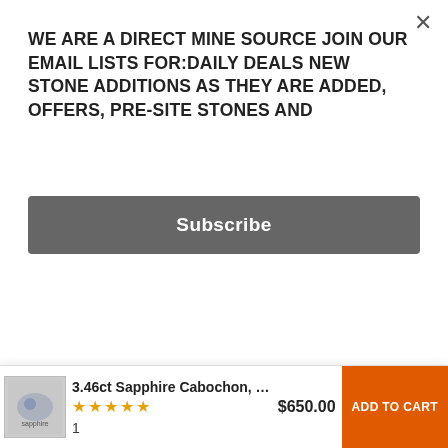WE ARE A DIRECT MINE SOURCE JOIN OUR EMAIL LISTS FOR:DAILY DEALS NEW STONE ADDITIONS AS THEY ARE ADDED, OFFERS, PRE-SITE STONES AND
[Figure (other): Subscribe button — dark gray rounded rectangle with white bold text 'Subscribe']
precision standards with a high polish. We set the standard in facet rough grading of gemstones. We are very well known by the miners in East Africa and get to see first hand, material, as it comes out of the mines and in cases within hours of it being mined. We speak local languages fluently and work very well with local miners and understand their needs. We know almost all miners in East Africa and they know us. We have built relationships with them of trust and long-term supply based on respect and
[Figure (other): Shopping cart icon with red badge showing 0, circular gray background]
3.46ct Sapphire Cabochon, U...
$650.00
ADD TO CART